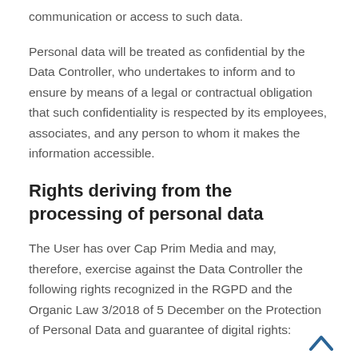communication or access to such data.
Personal data will be treated as confidential by the Data Controller, who undertakes to inform and to ensure by means of a legal or contractual obligation that such confidentiality is respected by its employees, associates, and any person to whom it makes the information accessible.
Rights deriving from the processing of personal data
The User has over Cap Prim Media and may, therefore, exercise against the Data Controller the following rights recognized in the RGPD and the Organic Law 3/2018 of 5 December on the Protection of Personal Data and guarantee of digital rights: